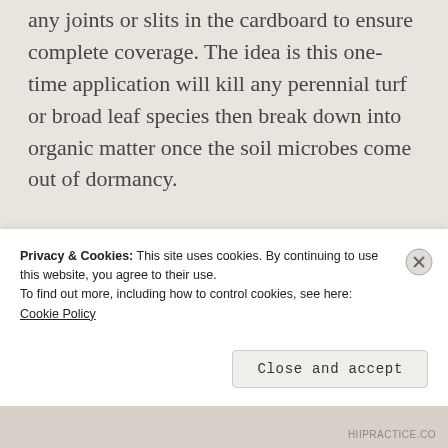any joints or slits in the cardboard to ensure complete coverage. The idea is this one-time application will kill any perennial turf or broad leaf species then break down into organic matter once the soil microbes come out of dormancy.
On top of the cardboard, I piled well aged horse manure/bedding mix to a depth of about 2 inches. Once the soil is workable, I will perform a onetime deep tilling to incorporate
Privacy & Cookies: This site uses cookies. By continuing to use this website, you agree to their use.
To find out more, including how to control cookies, see here: Cookie Policy
Close and accept